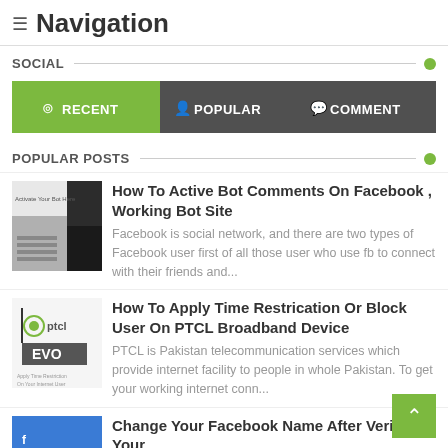≡ Navigation
SOCIAL
[Figure (screenshot): Tab bar with RECENT (green), POPULAR, and COMMENT tabs]
POPULAR POSTS
[Figure (photo): Thumbnail for Facebook bot comments article]
How To Active Bot Comments On Facebook , Working Bot Site
Facebook is social network, and there are two types of Facebook user first of all those user who use fb to connect with their friends and...
[Figure (photo): Thumbnail for PTCL broadband article showing PTCL and EVO logos]
How To Apply Time Restrication Or Block User On PTCL Broadband Device
PTCL is Pakistan telecommunication services which provide internet facility to people in whole Pakistan. To get your working internet conn...
Change Your Facebook Name After Verifying Your